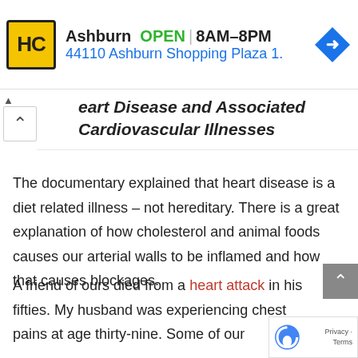[Figure (other): Advertisement banner for HC (Hairclub or similar) in Ashburn showing logo, OPEN status, hours 8AM-8PM, address 44110 Ashburn Shopping Plaza 1., and navigation arrow icon]
Heart Disease and Associated Cardiovascular Illnesses
The documentary explained that heart disease is a diet related illness – not hereditary.  There is a great explanation of how cholesterol and animal foods causes our arterial walls to be inflamed and how that causes blockages.
A friend of ours died from a heart attack in his fifties.  My husband was experiencing chest pains at age thirty-nine.  Some of our